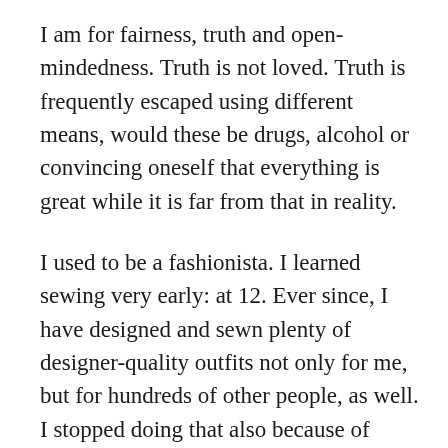I am for fairness, truth and open-mindedness. Truth is not loved. Truth is frequently escaped using different means, would these be drugs, alcohol or convincing oneself that everything is great while it is far from that in reality.
I used to be a fashionista. I learned sewing very early: at 12. Ever since, I have designed and sewn plenty of designer-quality outfits not only for me, but for hundreds of other people, as well. I stopped doing that also because of pointlessness. How much does one really need? When I paint, I cannot wear anything good because it will have paint spots all over anyway. Fast fashion made it impossible to buy any good quality shoes or jeans or similar things. I just simply refuse to